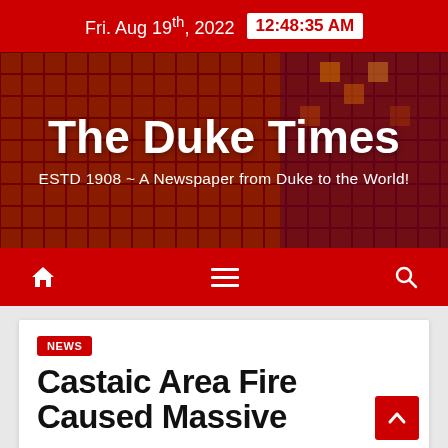Fri. Aug 19th, 2022  12:48:35 AM
The Duke Times
ESTD 1908 ~ A Newspaper from Duke to the World!
[Figure (other): Navigation bar with home icon, hamburger menu, and search icon on red background]
NEWS
Castaic Area Fire Caused Massive